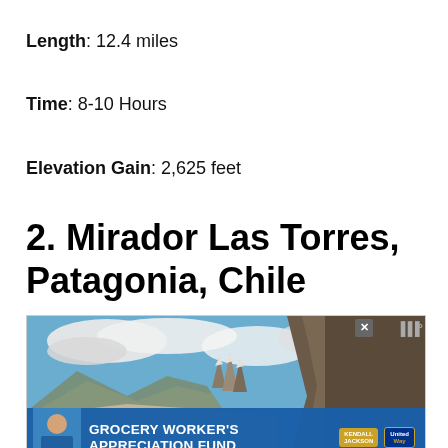Length: 12.4 miles
Time: 8-10 Hours
Elevation Gain: 2,625 feet
2. Mirador Las Torres, Patagonia, Chile
[Figure (photo): Landscape photo of Mirador Las Torres in Patagonia, Chile, showing dramatic granite towers in the background with mountains and cloudy blue sky]
[Figure (infographic): Advertisement banner: Grocery Worker's Appreciation Fund with Kendall-Jackson and United Way logos]